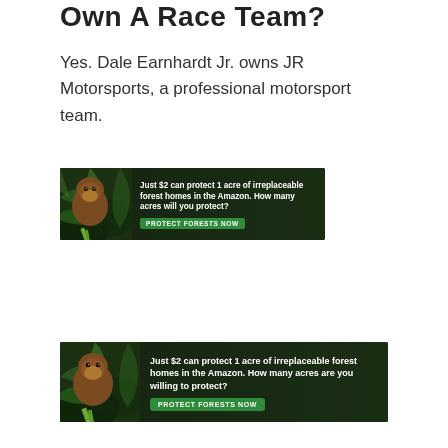Own A Race Team?
Yes. Dale Earnhardt Jr. owns JR Motorsports, a professional motorsport team.
[Figure (infographic): Advertisement banner: dark forest background with a monkey/orangutan image on the left. Text reads: 'Just $2 can protect 1 acre of irreplaceable forest homes in the Amazon. How many acres will you protect?' with a green 'PROTECT FORESTS NOW' button.]
[Figure (infographic): Advertisement banner (larger): dark forest background with a monkey/orangutan image on the left. Text reads: 'Just $2 can protect 1 acre of irreplaceable forest homes in the Amazon. How many acres are you willing to protect?' with a green 'PROTECT FORESTS NOW' button.]